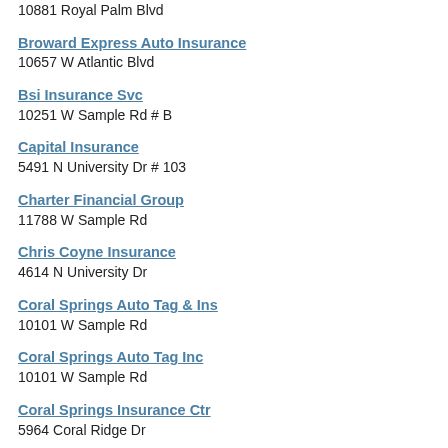10881 Royal Palm Blvd
Broward Express Auto Insurance
10657 W Atlantic Blvd
Bsi Insurance Svc
10251 W Sample Rd # B
Capital Insurance
5491 N University Dr # 103
Charter Financial Group
11788 W Sample Rd
Chris Coyne Insurance
4614 N University Dr
Coral Springs Auto Tag & Ins
10101 W Sample Rd
Coral Springs Auto Tag Inc
10101 W Sample Rd
Coral Springs Insurance Ctr
5964 Coral Ridge Dr
Craig R Savant Insurance
959 N University Dr